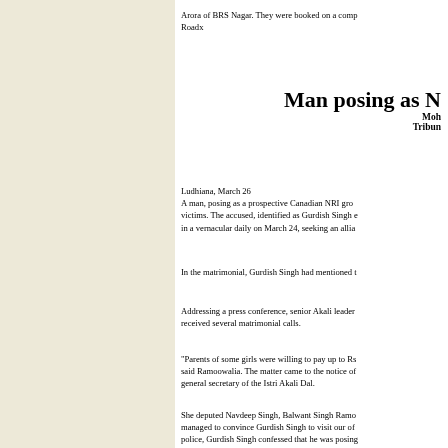Arora of BRS Nagar. They were booked on a comp… Roadx
Man posing as N…
Mohali Tribune
Ludhiana, March 26
A man, posing as a prospective Canadian NRI gro… victims. The accused, identified as Gurdish Singh … in a vernacular daily on March 24, seeking an allia…
In the matrimonial, Gurdish Singh had mentioned t…
Addressing a press conference, senior Akali leader… received several matrimonial calls.
"Parents of some girls were willing to pay up to Rs… said Ramoowalia. The matter came to the notice of… general secretary of the Istri Akali Dal.
She deputed Navdeep Singh, Balwant Singh Ramo… managed to convince Gurdish Singh to visit our of… police, Gurdish Singh confessed that he was posing… Singh.